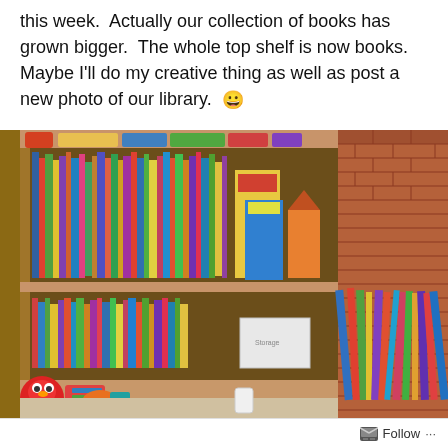this week.  Actually our collection of books has grown bigger.  The whole top shelf is now books.  Maybe I'll do my creative thing as well as post a new photo of our library.  😀
[Figure (photo): A wooden bookshelf filled with children's books on two shelves. To the right of the bookshelf, more books are stacked on the floor leaning against a brick wall. On the left side of the floor are toys including Elmo and colorful items. A white storage box sits on the bottom shelf.]
Follow